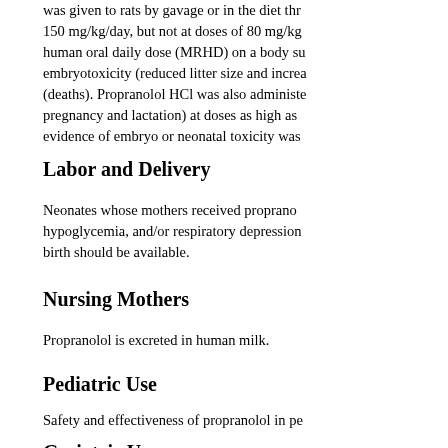was given to rats by gavage or in the diet thr 150 mg/kg/day, but not at doses of 80 mg/kg human oral daily dose (MRHD) on a body su embryotoxicity (reduced litter size and increa (deaths). Propranolol HCl was also administe pregnancy and lactation) at doses as high as evidence of embryo or neonatal toxicity was
Labor and Delivery
Neonates whose mothers received proprano hypoglycemia, and/or respiratory depression birth should be available.
Nursing Mothers
Propranolol is excreted in human milk.
Pediatric Use
Safety and effectiveness of propranolol in pe
Geriatric Use